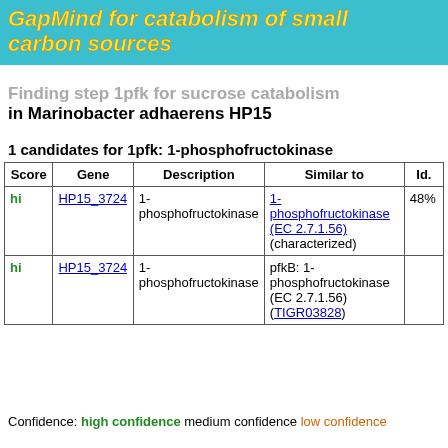GapMind for catabolism of small carbon sources
Finding step 1pfk for sucrose catabolism in Marinobacter adhaerens HP15
1 candidates for 1pfk: 1-phosphofructokinase
| Score | Gene | Description | Similar to | Id. |
| --- | --- | --- | --- | --- |
| hi | HP15_3724 | 1-phosphofructokinase | 1-phosphofructokinase (EC 2.7.1.56) (characterized) | 48% |
| hi | HP15_3724 | 1-phosphofructokinase | pfkB: 1-phosphofructokinase (EC 2.7.1.56) (TIGR03828) |  |
Confidence: high confidence medium confidence low confidence